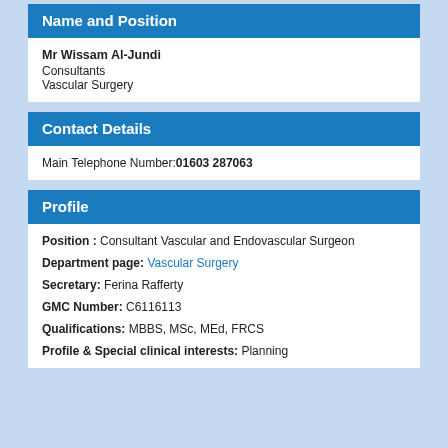Name and Position
Mr Wissam Al-Jundi
Consultants
Vascular Surgery
Contact Details
Main Telephone Number: 01603 287063
Profile
Position : Consultant Vascular and Endovascular Surgeon
Department page: Vascular Surgery
Secretary: Ferina Rafferty
GMC Number: C6116113
Qualifications: MBBS, MSc, MEd, FRCS
Profile & Special clinical interests: Planning